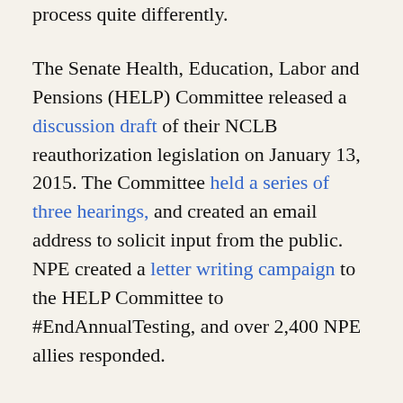process quite differently.
The Senate Health, Education, Labor and Pensions (HELP) Committee released a discussion draft of their NCLB reauthorization legislation on January 13, 2015. The Committee held a series of three hearings, and created an email address to solicit input from the public. NPE created a letter writing campaign to the HELP Committee to #EndAnnualTesting, and over 2,400 NPE allies responded.
The House Committee on Education and the Workforce released their draft NCLB legislation on February 3rd, but there have been no hearings, and no public input has been solicited. Tomorrow the Committee has scheduled a "markup" of the draft, only a week after releasing